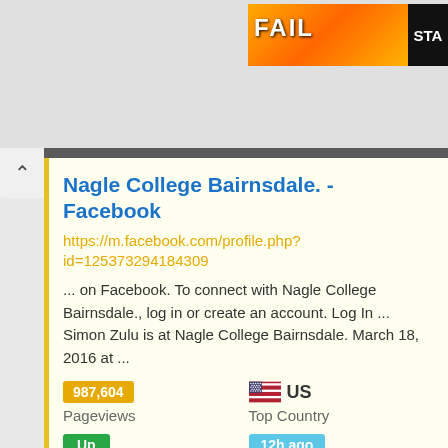[Figure (screenshot): Advertisement banner showing 'FAIL' text with colorful background and 'STA' text on black strip]
Nagle College Bairnsdale. - Facebook
https://m.facebook.com/profile.php?id=125373294184309
... on Facebook. To connect with Nagle College Bairnsdale., log in or create an account. Log In ... Simon Zulu is at Nagle College Bairnsdale. March 18, 2016 at ...
987,604
Pageviews
US
Top Country
Up
Site Status
12h ago
Last Pinged